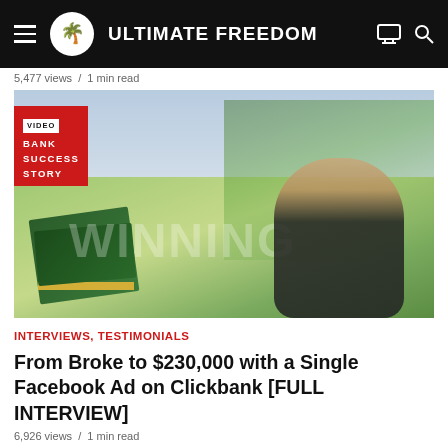ULTIMATE FREEDOM
5,477 views / 1 min read
[Figure (photo): Man sitting outdoors in front of lush green rice fields and palm trees, wearing a black t-shirt with 'WINNING' text, with stacks of dollar bills visible. A red badge reads 'VIDEO BANK SUCCESS STORY'.]
INTERVIEWS, TESTIMONIALS
From Broke to $230,000 with a Single Facebook Ad on Clickbank [FULL INTERVIEW]
6,926 views / 1 min read